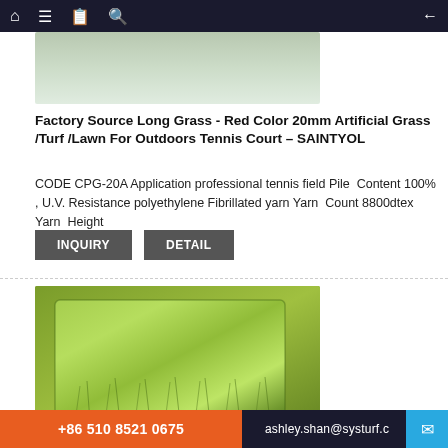Navigation bar with home, menu, bookmarks, search, and back icons
[Figure (photo): Top portion of a red artificial grass/turf product photo, partially visible]
Factory Source Long Grass - Red Color 20mm Artificial Grass /Turf /Lawn For Outdoors Tennis Court – SAINTYOL
CODE CPG-20A Application professional tennis field Pile Content 100% , U.V. Resistance polyethylene Fibrillated yarn Yarn Count 8800dtex Yarn Height
INQUIRY   DETAIL
[Figure (photo): Green artificial grass/turf product sample shown as a rectangular patch with realistic grass blades texture]
+86 510 8521 0675   ashley.shan@systurf.c